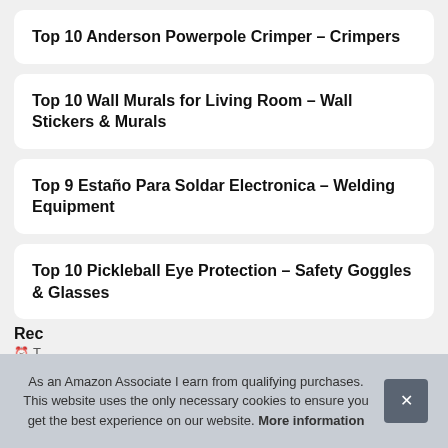Top 10 Anderson Powerpole Crimper – Crimpers
Top 10 Wall Murals for Living Room – Wall Stickers & Murals
Top 9 Estaño Para Soldar Electronica – Welding Equipment
Top 10 Pickleball Eye Protection – Safety Goggles & Glasses
Rec
T
As an Amazon Associate I earn from qualifying purchases. This website uses the only necessary cookies to ensure you get the best experience on our website. More information